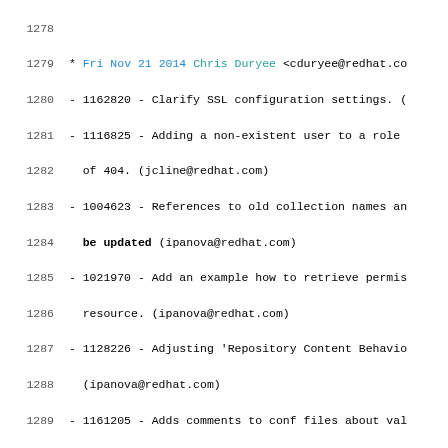Code/changelog listing, lines 1278-1300, showing git changelog entries with line numbers, authors, and bug references.